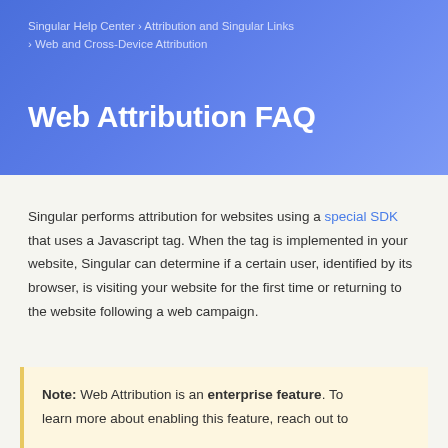Singular Help Center › Attribution and Singular Links › Web and Cross-Device Attribution
Web Attribution FAQ
Singular performs attribution for websites using a special SDK that uses a Javascript tag. When the tag is implemented in your website, Singular can determine if a certain user, identified by its browser, is visiting your website for the first time or returning to the website following a web campaign.
Note: Web Attribution is an enterprise feature. To learn more about enabling this feature, reach out to